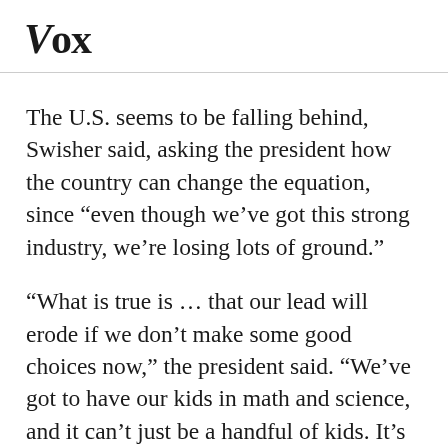Vox
The U.S. seems to be falling behind, Swisher said, asking the president how the country can change the equation, since “even though we’ve got this strong industry, we’re losing lots of ground.”
“What is true is … that our lead will erode if we don’t make some good choices now,” the president said. “We’ve got to have our kids in math and science, and it can’t just be a handful of kids. It’s got to be everybody. Everybody’s got to learn how to